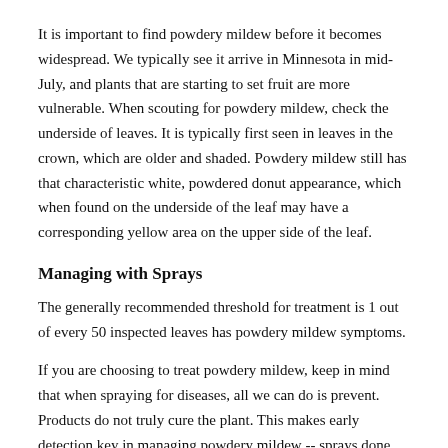It is important to find powdery mildew before it becomes widespread. We typically see it arrive in Minnesota in mid-July, and plants that are starting to set fruit are more vulnerable. When scouting for powdery mildew, check the underside of leaves. It is typically first seen in leaves in the crown, which are older and shaded. Powdery mildew still has that characteristic white, powdered donut appearance, which when found on the underside of the leaf may have a corresponding yellow area on the upper side of the leaf.
Managing with Sprays
The generally recommended threshold for treatment is 1 out of every 50 inspected leaves has powdery mildew symptoms.
If you are choosing to treat powdery mildew, keep in mind that when spraying for diseases, all we can do is prevent. Products do not truly cure the plant. This makes early detection key in managing powdery mildew -- sprays done early in the season when the disease is first found are going to offer the plants more protection. Sprays meant to rescue heavily infested plants closer to harvest will be much less effective and will promote the development of fungicide resistance.